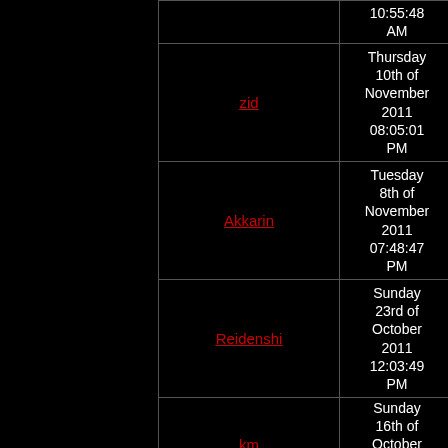| Username | Date |
| --- | --- |
|  | 10:55:48 AM |
| zid | Thursday 10th of November 2011 08:05:01 PM |
| Akkarin | Tuesday 8th of November 2011 07:48:47 PM |
| Reidenshi | Sunday 23rd of October 2011 12:03:49 PM |
| km | Sunday 16th of October 2011 04:29:14 |